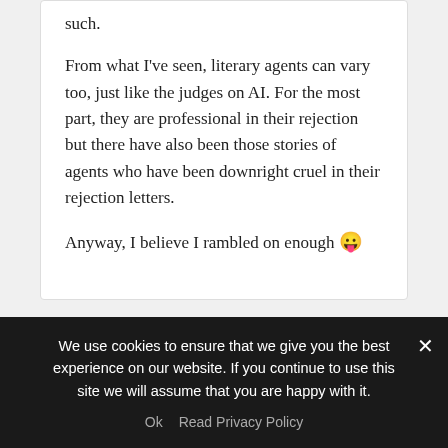such.

From what I've seen, literary agents can vary too, just like the judges on AI. For the most part, they are professional in their rejection but there have also been those stories of agents who have been downright cruel in their rejection letters.

Anyway, I believe I rambled on enough 😛
[Figure (illustration): Round avatar icon with decorative geometric pattern in teal/green colors]
The Rejection Queen on January 14, 2009 at 11:50
We use cookies to ensure that we give you the best experience on our website. If you continue to use this site we will assume that you are happy with it.
Ok   Read Privacy Policy